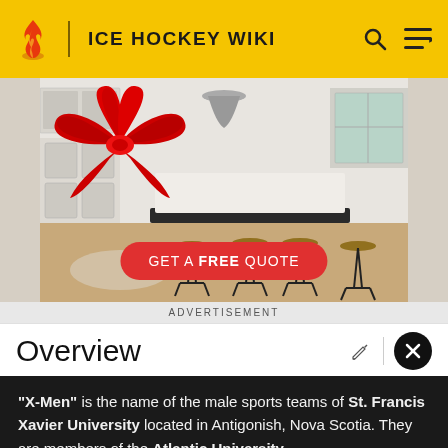ICE HOCKEY WIKI
[Figure (photo): Advertisement photo of a white kitchen with bar stools and a red bow decoration, with a red 'GET A FREE QUOTE' button overlay.]
ADVERTISEMENT
Overview
"X-Men" is the name of the male sports teams of St. Francis Xavier University located in Antigonish, Nova Scotia. They are members of the Atlantic University